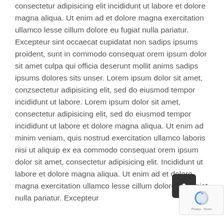consectetur adipisicing elit incididunt ut labore et dolore magna aliqua. Ut enim ad et dolore magna exercitation ullamco lesse cillum dolore eu fugiat nulla pariatur. Excepteur sint occaecat cupidatat non sadips ipsums proident, sunt in commodo consequat orem ipsum dolor sit amet culpa qui officia deserunt mollit anims sadips ipsums dolores sits unser. Lorem ipsum dolor sit amet, conzsectetur adipisicing elit, sed do eiusmod tempor incididunt ut labore. Lorem ipsum dolor sit amet, consectetur adipisicing elit, sed do eiusmod tempor incididunt ut labore et dolore magna aliqua. Ut enim ad minim veniam, quis nostrud exercitation ullamco laboris nisi ut aliquip ex ea commodo consequat orem ipsum dolor sit amet, consectetur adipisicing elit. Incididunt ut labore et dolore magna aliqua. Ut enim ad et dolore magna exercitation ullamco lesse cillum dolore eu fugiat nulla pariatur. Excepteur